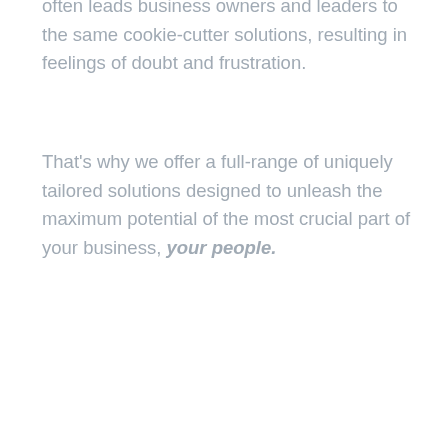often leads business owners and leaders to the same cookie-cutter solutions, resulting in feelings of doubt and frustration.
That's why we offer a full-range of uniquely tailored solutions designed to unleash the maximum potential of the most crucial part of your business, your people.